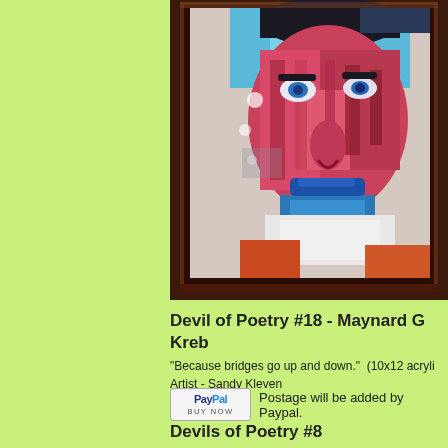[Figure (photo): A framed painting of a face with colorful abstract style — Devil of Poetry #18 artwork, partially cropped, showing a face with blue eyes, pink/red skin tones, dark hair, and blue lips against a dark wooden frame]
Devil of Poetry #18  - Maynard G Kreb
"Because bridges go up and down."  (10x12 acryli
Artist - Sandy Kleven
[Figure (logo): PayPal Buy Now button]
Postage will be added by Paypal.
Devils of Poetry #8